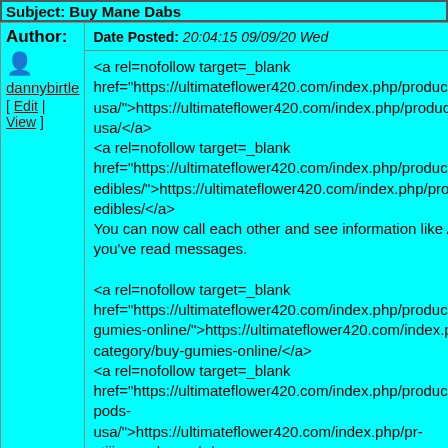Subject: Buy Mane Dabs
Date Posted: 20:04:15 09/09/20 Wed
Author:
dannybirtle
[ Edit | View ]
<a rel=nofollow target=_blank href="https://ultimateflower420.com/index.php/product-usa/">https://ultimateflower420.com/index.php/product-usa/</a>
<a rel=nofollow target=_blank href="https://ultimateflower420.com/index.php/product-edibles/">https://ultimateflower420.com/index.php/product-edibles/</a>
You can now call each other and see information like A you've read messages.

<a rel=nofollow target=_blank href="https://ultimateflower420.com/index.php/product-gumies-online/">https://ultimateflower420.com/index.php/category/buy-gumies-online/</a>
<a rel=nofollow target=_blank href="https://ultimateflower420.com/index.php/product-pods-usa/">https://ultimateflower420.com/index.php/pr-stiiizy-pods-usa/</a>

<a rel=nofollow target=_blank ...